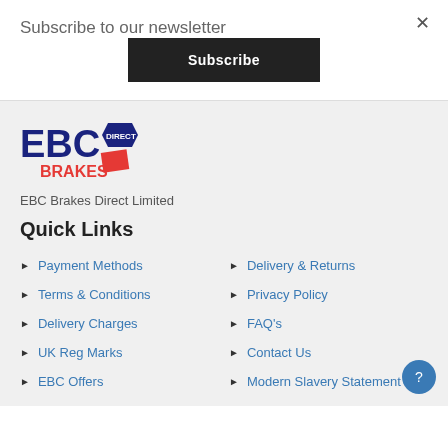Subscribe to our newsletter
Subscribe
[Figure (logo): EBC Brakes Direct logo with blue EBC text, blue diamond shape with DIRECT label, and red BRAKES text below]
EBC Brakes Direct Limited
Quick Links
Payment Methods
Delivery & Returns
Terms & Conditions
Privacy Policy
Delivery Charges
FAQ's
UK Reg Marks
Contact Us
EBC Offers
Modern Slavery Statement